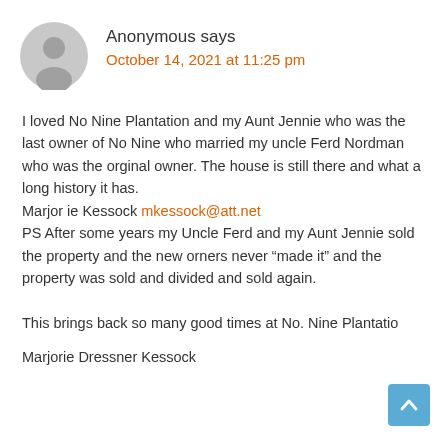[Figure (illustration): Gray circular avatar icon with silhouette of a person (generic user avatar)]
Anonymous says
October 14, 2021 at 11:25 pm
I loved No Nine Plantation and my Aunt Jennie who was the last owner of No Nine who married my uncle Ferd Nordman who was the orginal owner. The house is still there and what a long history it has.
Marjor ie Kessock mkessock@att.net
PS After some years my Uncle Ferd and my Aunt Jennie sold the property and the new orners never “made it” and the property was sold and divided and sold again.

This brings back so many good times at No. Nine Plantatio
Marjorie Dressner Kessock
[Figure (illustration): Light blue scroll-to-top button with upward chevron arrow]